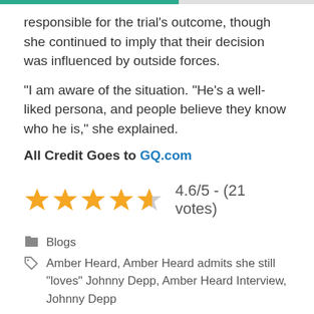responsible for the trial's outcome, though she continued to imply that their decision was influenced by outside forces.
“I am aware of the situation. “He’s a well-liked persona, and people believe they know who he is,” she explained.
All Credit Goes to GQ.com
[Figure (other): Star rating: 4.6/5 - (21 votes), showing approximately 4.6 filled stars out of 5]
Blogs
Amber Heard, Amber Heard admits she still "loves" Johnny Depp, Amber Heard Interview, Johnny Depp